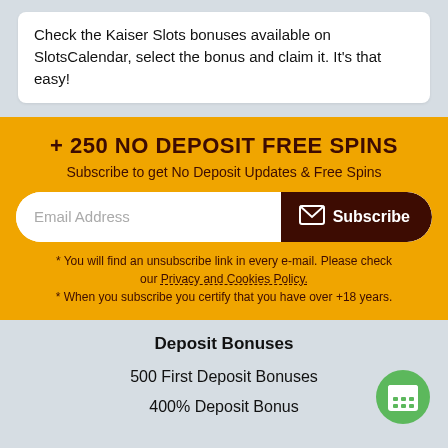Check the Kaiser Slots bonuses available on SlotsCalendar, select the bonus and claim it. It's that easy!
+ 250 NO DEPOSIT FREE SPINS
Subscribe to get No Deposit Updates & Free Spins
Email Address
Subscribe
* You will find an unsubscribe link in every e-mail. Please check our Privacy and Cookies Policy.
* When you subscribe you certify that you have over +18 years.
Deposit Bonuses
500 First Deposit Bonuses
400% Deposit Bonus
[Figure (illustration): Green circular calendar icon with white calendar graphic]